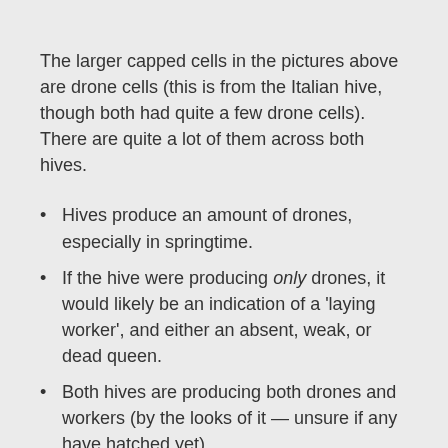The larger capped cells in the pictures above are drone cells (this is from the Italian hive, though both had quite a few drone cells). There are quite a lot of them across both hives.
Hives produce an amount of drones, especially in springtime.
If the hive were producing only drones, it would likely be an indication of a 'laying worker', and either an absent, weak, or dead queen.
Both hives are producing both drones and workers (by the looks of it — unsure if any have hatched yet).